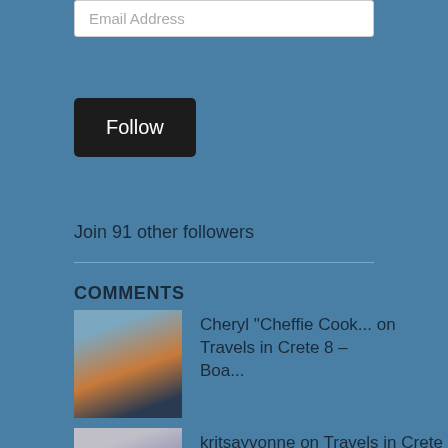Email Address
Follow
Join 91 other followers
COMMENTS
Cheryl "Cheffie Cook... on Travels in Crete 8 – Boa...
kritsayvonne on Travels in Crete 8 – Boa...
Mrs Dud on Travels in Crete 8 – Boa...
mrsagnesg on Travels in Crete 8 – Boa...
Mrs Dud on Travels in Crete 8 – Boa...